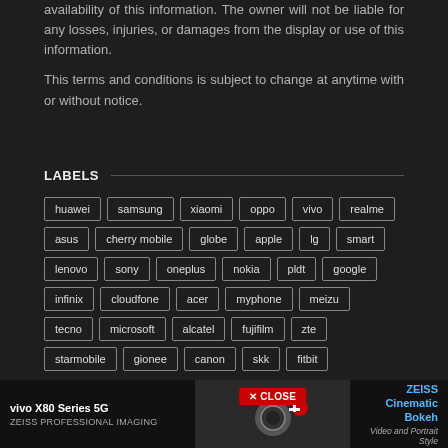availability of this information. The owner will not be liable for any losses, injuries, or damages from the display or use of this information.
This terms and conditions is subject to change at anytime with or without notice.
LABELS
huawei
samsung
xiaomi
oppo
vivo
realme
asus
cherry mobile
globe
apple
lg
smart
lenovo
sony
oneplus
nokia
pldt
google
infinix
cloudfone
acer
myphone
meizu
tecno
microsoft
alcatel
fujifilm
zte
starmobile
gionee
canon
skk
fitbit
[Figure (infographic): vivo X80 Series 5G advertisement banner with ZEISS Professional Imaging and ZEISS Cinematic Bokeh tagline]